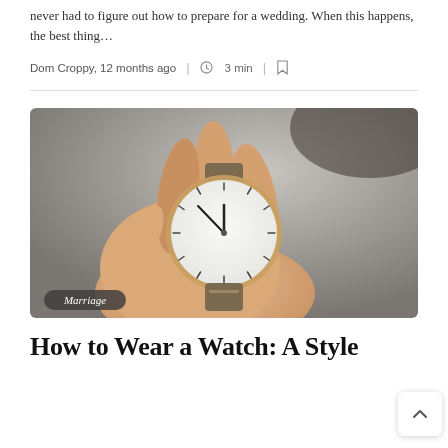never had to figure out how to prepare for a wedding. When this happens, the best thing…
Dom Croppy, 12 months ago | ⏱ 3 min | 🔖
[Figure (photo): A hand holding a wristwatch with a white face, rose-gold case, and brown leather strap, shown against a grey background. A 'Marriage' tag label is overlaid at the bottom left.]
How to Wear a Watch: A Style